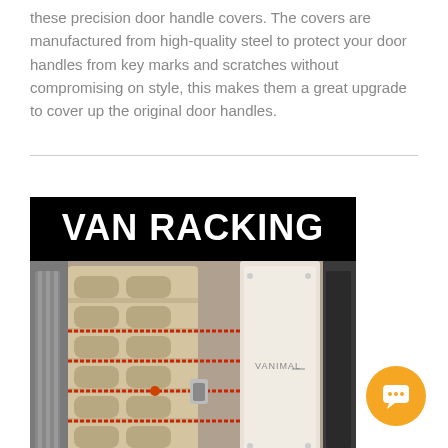these precision door handle covers. The covers are manufactured from high-quality steel to protect your door handles from key marks and scratches without compromising on style, this makes them a great upgrade to cover up the original door handles.
[Figure (photo): Van racking advertisement image showing a black banner with 'VAN RACKING' text in white, and below it a photo of wooden van shelving/racking with red bungee cords and a 'VANIMAL' branded white panel.]